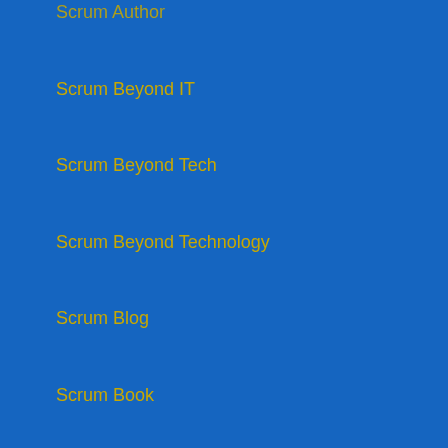Scrum Author
Scrum Beyond IT
Scrum Beyond Tech
Scrum Beyond Technology
Scrum Blog
Scrum Book
Scrum consultant
Scrum Development Team
Scrum E-book
Scrum Ebook